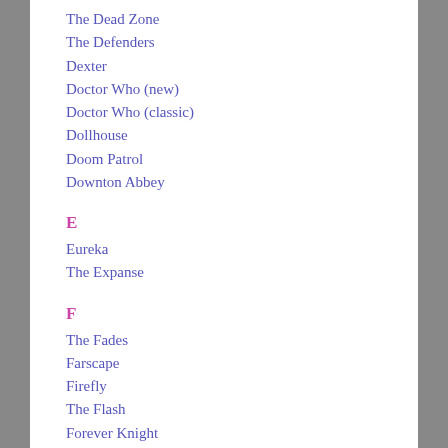The Dead Zone
The Defenders
Dexter
Doctor Who (new)
Doctor Who (classic)
Dollhouse
Doom Patrol
Downton Abbey
E
Eureka
The Expanse
F
The Fades
Farscape
Firefly
The Flash
Forever Knight
Fringe
G
Game of Thrones
Gilmore Girls
The Good Place